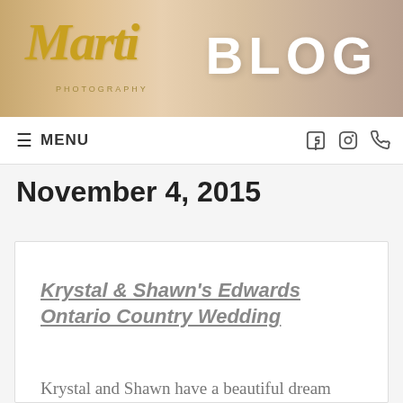[Figure (photo): Photography studio blog header banner with script logo and BLOG text overlay on warm skin-tone background]
≡ MENU
November 4, 2015
Krystal & Shawn's Edwards Ontario Country Wedding
Krystal and Shawn have a beautiful dream property with horses and a riding arena in